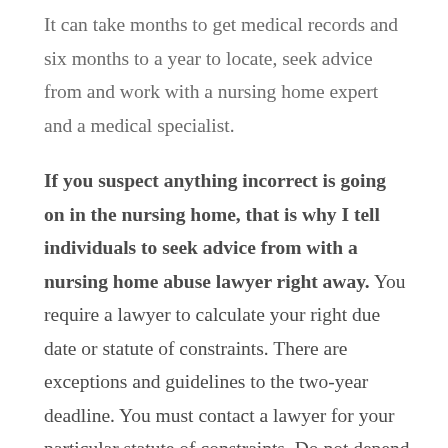It can take months to get medical records and six months to a year to locate, seek advice from and work with a nursing home expert and a medical specialist.
If you suspect anything incorrect is going on in the nursing home, that is why I tell individuals to seek advice from with a nursing home abuse lawyer right away. You require a lawyer to calculate your right due date or statute of constraints. There are exceptions and guidelines to the two-year deadline. You must contact a lawyer for your particular statute of constraints. Do not depend